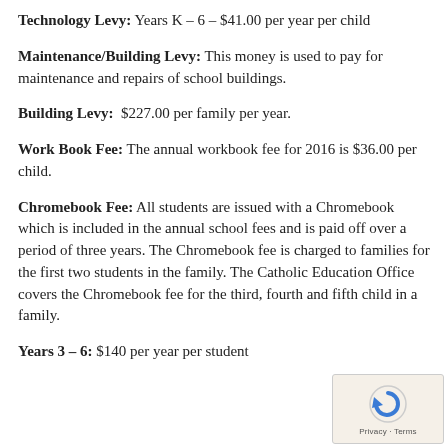Technology Levy: Years K – 6 – $41.00 per year per child
Maintenance/Building Levy: This money is used to pay for maintenance and repairs of school buildings.
Building Levy: $227.00 per family per year.
Work Book Fee: The annual workbook fee for 2016 is $36.00 per child.
Chromebook Fee: All students are issued with a Chromebook which is included in the annual school fees and is paid off over a period of three years. The Chromebook fee is charged to families for the first two students in the family. The Catholic Education Office covers the Chromebook fee for the third, fourth and fifth child in a family.
Years 3 – 6: $140 per year per student